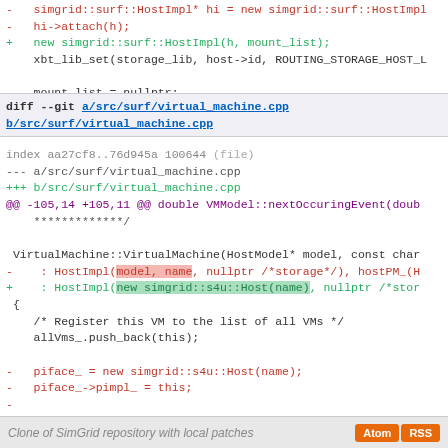- simgrid::surf::HostImpl* hi = new simgrid::surf::HostImpl
- hi->attach(h);
+ new simgrid::surf::HostImpl(h, mount_list);
  xbt_lib_set(storage_lib, host->id, ROUTING_STORAGE_HOST_L

  mount_list = nullptr;
diff --git a/src/surf/virtual_machine.cpp b/src/surf/virtual_machine.cpp
index aa27cf8..76d945a 100644 (file)
--- a/src/surf/virtual_machine.cpp
+++ b/src/surf/virtual_machine.cpp
@@ -105,14 +105,11 @@ double VMModel::nextOccuringEvent(doub
  *************/

 VirtualMachine::VirtualMachine(HostModel* model, const char
-    : HostImpl(model, name, nullptr /*storage*/), hostPM_(H
+    : HostImpl(new simgrid::s4u::Host(name), nullptr /*stor
 {
    /* Register this VM to the list of all VMs */
    allVms_.push_back(this);

-   piface_ = new simgrid::s4u::Host(name);
-   piface_->pimpl_ = this;
-
    /* Currently, a VM uses the network resource of its physi
     * host_lib, this network resource object is referred fro
     * When deregistering the reference that points the netwo
Clone of SimGrid repository with local patches   Atom  RSS